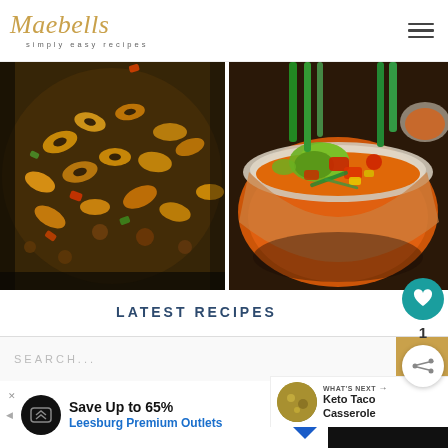Maebells simply easy recipes
[Figure (photo): Close-up of cheesy macaroni with ground beef, peppers and tomatoes in a dark skillet]
[Figure (photo): Bowl of taco soup topped with avocado, tomatoes, green onions, with green onions in background]
LATEST RECIPES
CONNECT
[Figure (photo): Keto Taco Casserole thumbnail - round photo of casserole dish with toppings]
WHAT'S NEXT → Keto Taco Casserole
SEARCH...
Save Up to 65% Leesburg Premium Outlets